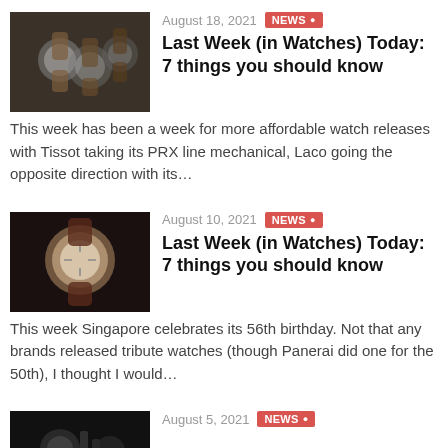[Figure (photo): Several watches with brown leather straps laid on dark surface]
August 18, 2021
NEWS
Last Week (in Watches) Today: 7 things you should know
This week has been a week for more affordable watch releases with Tissot taking its PRX line mechanical, Laco going the opposite direction with its…
[Figure (photo): Rose gold watch with open back showing movement, on dark background]
August 10, 2021
NEWS
Last Week (in Watches) Today: 7 things you should know
This week Singapore celebrates its 56th birthday. Not that any brands released tribute watches (though Panerai did one for the 50th), I thought I would…
[Figure (photo): Close-up of watch movement parts on dark background]
August 5, 2021
NEWS